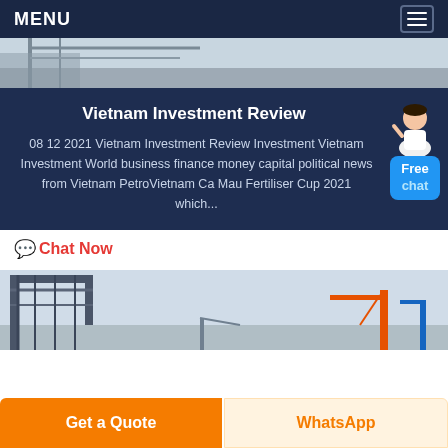MENU
[Figure (photo): Aerial or industrial facility photo used as hero image banner at top of page]
Vietnam Investment Review
08 12 2021 Vietnam Investment Review Investment Vietnam Investment World business finance money capital political news from Vietnam PetroVietnam Ca Mau Fertiliser Cup 2021 which...
Chat Now
[Figure (photo): Industrial facility or construction site image showing structures and cranes]
Get a Quote
WhatsApp